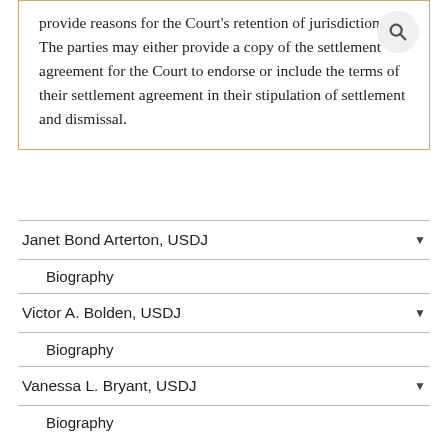provide reasons for the Court's retention of jurisdiction. The parties may either provide a copy of the settlement agreement for the Court to endorse or include the terms of their settlement agreement in their stipulation of settlement and dismissal.
Janet Bond Arterton, USDJ
Biography
Victor A. Bolden, USDJ
Biography
Vanessa L. Bryant, USDJ
Biography